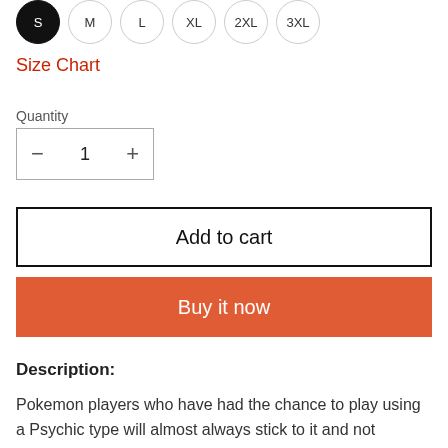[Figure (other): Size selector buttons: S (selected/black), M, L, XL, 2XL, 3XL as circular toggle buttons]
Size Chart
Quantity
[Figure (other): Quantity selector box with minus button, value 1, and plus button]
Add to cart
Buy it now
Description:
Pokemon players who have had the chance to play using a Psychic type will almost always stick to it and not change